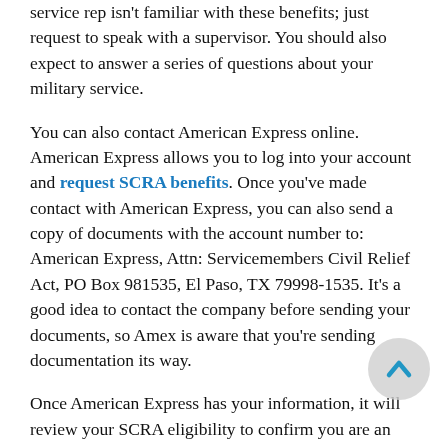service rep isn't familiar with these benefits; just request to speak with a supervisor. You should also expect to answer a series of questions about your military service.
You can also contact American Express online. American Express allows you to log into your account and request SCRA benefits. Once you've made contact with American Express, you can also send a copy of documents with the account number to: American Express, Attn: Servicemembers Civil Relief Act, PO Box 981535, El Paso, TX 79998-1535. It's a good idea to contact the company before sending your documents, so Amex is aware that you're sending documentation its way.
Once American Express has your information, it will review your SCRA eligibility to confirm you are an active duty military member or the spouse of an active service mem. American Express will examine the provided documents and check the Department of Defense Manpower Data Center. Be aware that, depending on how long the